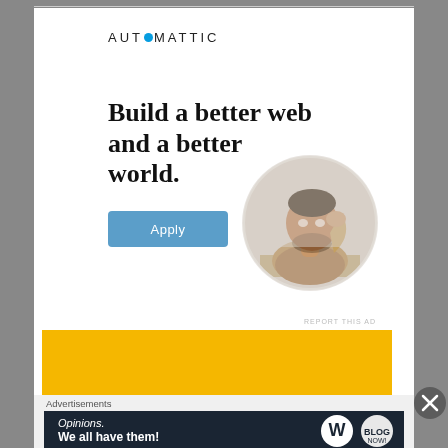[Figure (logo): AUTOMATTIC logo with blue circle dot replacing the O]
Build a better web and a better world.
[Figure (photo): Circular cropped photo of a man sitting at a desk, looking up thoughtfully with his hand on his chin]
Apply
REPORT THIS AD
You can check your answers below, and treat yourself to a nice box of Valentine chocolates for doing so because why
Advertisements
[Figure (infographic): Dark navy banner ad: 'Opinions. We all have them!' with WordPress and another logo on the right]